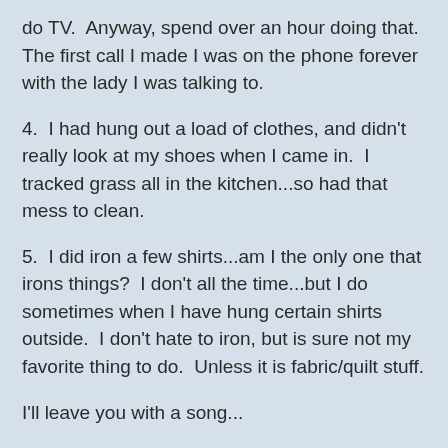do TV.  Anyway, spend over an hour doing that.  The first call I made I was on the phone forever with the lady I was talking to.
4.  I had hung out a load of clothes, and didn't really look at my shoes when I came in.  I tracked grass all in the kitchen...so had that mess to clean.
5.  I did iron a few shirts...am I the only one that irons things?  I don't all the time...but I do sometimes when I have hung certain shirts outside.  I don't hate to iron, but is sure not my favorite thing to do.  Unless it is fabric/quilt stuff.
I'll leave you with a song...